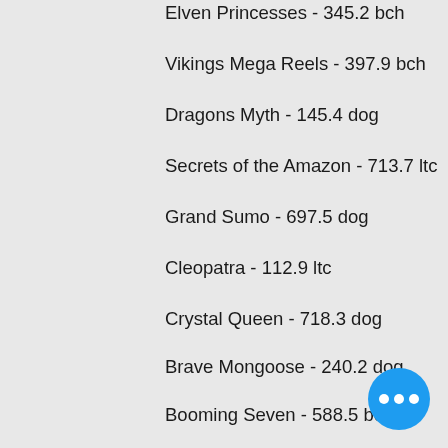Elven Princesses - 345.2 bch
Vikings Mega Reels - 397.9 bch
Dragons Myth - 145.4 dog
Secrets of the Amazon - 713.7 ltc
Grand Sumo - 697.5 dog
Cleopatra - 112.9 ltc
Crystal Queen - 718.3 dog
Brave Mongoose - 240.2 dog
Booming Seven - 588.5 bch
Popular Table Games:
Bspin.io Casino The Love Guru
Bitcasino.io Sugar Trail
Playamo Casino Golden Chance
CryptoGames Rock Climber
Mars Casino Fruity Mania
22Bet Casino Super Safari
Betcoin.ag Casino Dracula
mBit Casino Hole in Won
1xSlots Casino Revolution
OneHash Triple Magic